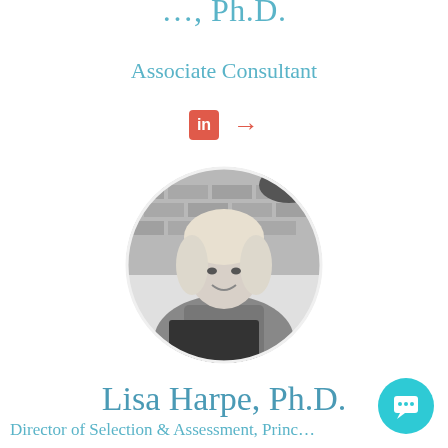... Ph.D.
Associate Consultant
[Figure (other): LinkedIn icon and arrow link icons in coral/red color]
[Figure (photo): Circular black and white portrait photo of a blonde woman sitting at a laptop, smiling, with a brick background]
Lisa Harpe, Ph.D.
Director of Selection & Assessment, Principal Consultant